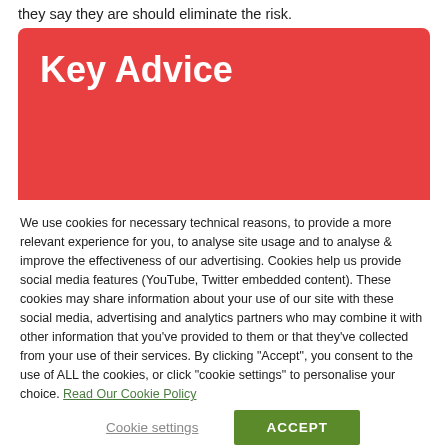they say they are should eliminate the risk.
Key Advice
We use cookies for necessary technical reasons, to provide a more relevant experience for you, to analyse site usage and to analyse & improve the effectiveness of our advertising. Cookies help us provide social media features (YouTube, Twitter embedded content). These cookies may share information about your use of our site with these social media, advertising and analytics partners who may combine it with other information that you've provided to them or that they've collected from your use of their services. By clicking "Accept", you consent to the use of ALL the cookies, or click "cookie settings" to personalise your choice. Read Our Cookie Policy
Cookie settings
ACCEPT